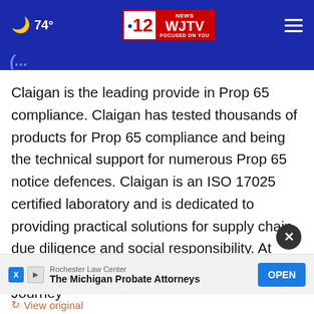74° | WJTV 12 News Focused On You
(partial heading text)
Claigan is the leading provide in Prop 65 compliance. Claigan has tested thousands of products for Prop 65 compliance and being the technical support for numerous Prop 65 notice defences. Claigan is an ISO 17025 certified laboratory and is dedicated to providing practical solutions for supply chain due diligence and social responsibility. At Claigan, we believe in 'More Results, Less Journey'
Rochester Law Center The Michigan Probate Attorneys OPEN
View original